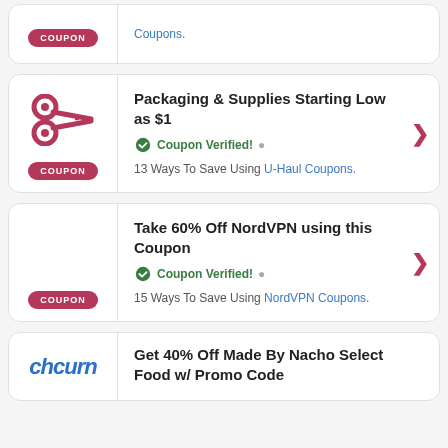[Figure (other): Partial coupon card at top with COUPON badge and blue link text 'Coupons.']
Coupons.
[Figure (other): Coupon card with scissors icon and COUPON badge]
Packaging & Supplies Starting Low as $1
Coupon Verified! • 13 Ways To Save Using U-Haul Coupons.
[Figure (other): Coupon card with COUPON badge]
Take 60% Off NordVPN using this Coupon
Coupon Verified! • 15 Ways To Save Using NordVPN Coupons.
[Figure (other): Partial coupon card at bottom with Nacho logo]
Get 40% Off Made By Nacho Select Food w/ Promo Code